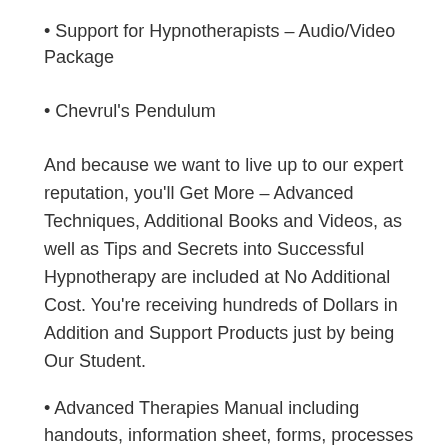• Support for Hypnotherapists – Audio/Video Package
• Chevrul's Pendulum
And because we want to live up to our expert reputation, you'll Get More – Advanced Techniques, Additional Books and Videos, as well as Tips and Secrets into Successful Hypnotherapy are included at No Additional Cost. You're receiving hundreds of Dollars in Addition and Support Products just by being Our Student.
• Advanced Therapies Manual including handouts, information sheet, forms, processes and scripts
• Three Hypnotic Powers to Enhance and Enrich Your Child's Life: A Parent's Guide by Jennifer Norris